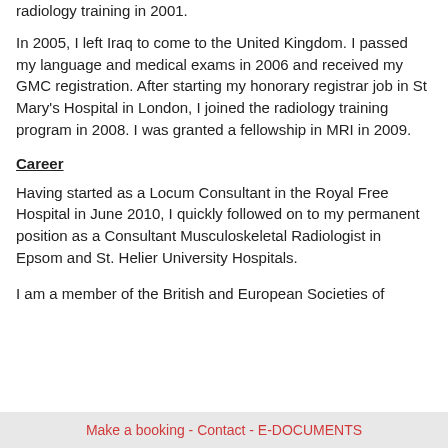radiology training in 2001.
In 2005, I left Iraq to come to the United Kingdom. I passed my language and medical exams in 2006 and received my GMC registration. After starting my honorary registrar job in St Mary’s Hospital in London, I joined the radiology training program in 2008. I was granted a fellowship in MRI in 2009.
Career
Having started as a Locum Consultant in the Royal Free Hospital in June 2010, I quickly followed on to my permanent position as a Consultant Musculoskeletal Radiologist in Epsom and St. Helier University Hospitals.
I am a member of the British and European Societies of
Make a booking - Contact - E-DOCUMENTS